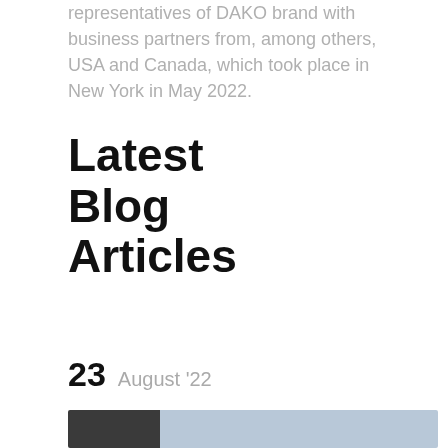representatives of DAKO brand with business partners from, among others, USA and Canada, which took place in New York in May 2022.
Latest Blog Articles
23 August '22
[Figure (photo): Partial view of a photo showing a dark interior on the left and a light blue background on the right, likely a blog article thumbnail image.]